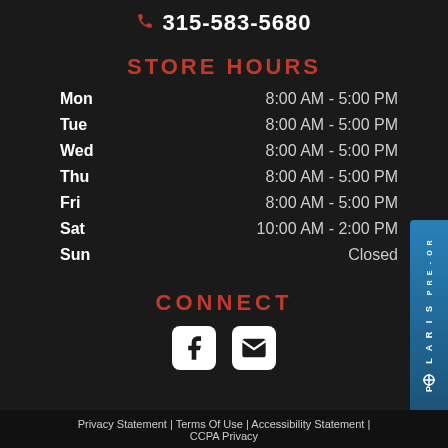📞 315-583-5680
STORE HOURS
| Day | Hours |
| --- | --- |
| Mon | 8:00 AM - 5:00 PM |
| Tue | 8:00 AM - 5:00 PM |
| Wed | 8:00 AM - 5:00 PM |
| Thu | 8:00 AM - 5:00 PM |
| Fri | 8:00 AM - 5:00 PM |
| Sat | 10:00 AM - 2:00 PM |
| Sun | Closed |
CONNECT
[Figure (illustration): Facebook icon and email/envelope icon in white rounded squares]
[Figure (logo): Polaris Pre-Order badge in blue, vertical orientation, on right side]
Privacy Statement | Terms Of Use | Accessibility Statement | CCPA Privacy